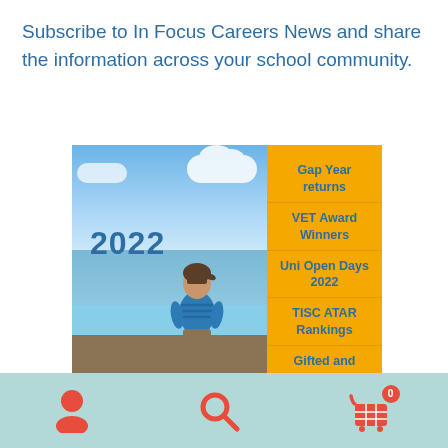Subscribe to In Focus Careers News and share the information across your school community.
[Figure (illustration): Magazine cover showing a child sitting by the sea with '2022' text, next to a yellow sidebar listing topics: Gap Year returns, VET Award Winners, Uni Open Days 2022, TISC ATAR Rankings, Gifted and...]
Navigation bar with user icon, search icon, and shopping cart icon with badge showing 0